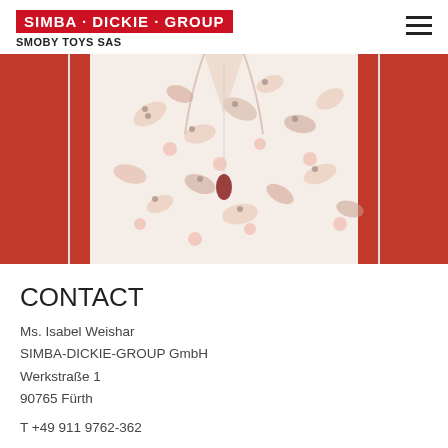SIMBA · DICKIE · GROUP
SMOBY TOYS SAS
[Figure (photo): Close-up photo of a woman wearing a floral-patterned blouse with a red cardigan and a red pendant necklace, torso only visible.]
CONTACT
Ms. Isabel Weishar
SIMBA-DICKIE-GROUP GmbH
Werkstraße 1
90765 Fürth
T +49 911 9762-362